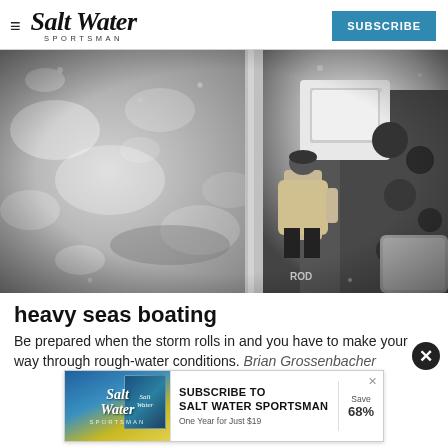Salt Water Sportsman — SUBSCRIBE
[Figure (photo): Black and white fisheye/wide-angle photo taken from a boat deck showing rough choppy water on the left side and a person standing at the helm/console area on the right side, with fishing rods visible and rain droplets on the lens]
heavy seas boating
Be prepared when the storm rolls in and you have to make your way through rough-water conditions. Brian Grossenbacher
[Figure (advertisement): Subscribe to Salt Water Sportsman advertisement banner — One Year for Just $19, Save 68%]